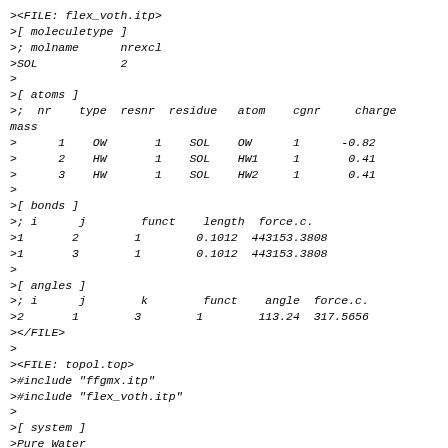><FILE: flex_voth.itp>
>[ moleculetype ]
>; molname      nrexcl
>SOL            2
>
>[ atoms ]
>;  nr    type  resnr  residue   atom    cgnr     charge
mass
>      1    OW       1    SOL    OW      1      -0.82
>      2    HW       1    SOL    HW1     1       0.41
>      3    HW       1    SOL    HW2     1       0.41
>
>[ bonds ]
>; i      j        funct    length  force.c.
>1       2        1        0.1012  443153.3808
>1       3        1        0.1012  443153.3808
>
>[ angles ]
>; i      j        k        funct    angle  force.c.
>2       1        3        1        113.24  317.5656
></FILE>
>
><FILE: topol.top>
>#include "ffgmx.itp"
>#include "flex_voth.itp"
>
>[ system ]
>Pure Water
>
>[ molecules ]